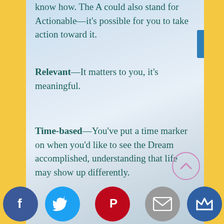know how. The A could also stand for Actionable—it's possible for you to take action toward it.
Relevant—It matters to you, it's meaningful.
Time-based—You've put a time marker on when you'd like to see the Dream accomplished, understanding that life may show up differently.
Some examples of Breakthrough Dreams might be:
build a cabin
draft a book